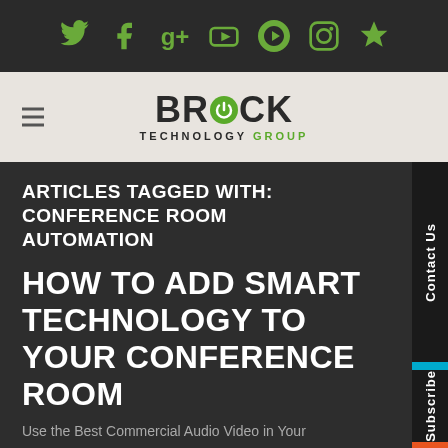[Figure (logo): Social media icons bar with Twitter, Facebook, Google+, YouTube, Pinterest, Instagram, and a green hexagon icon on dark background]
[Figure (logo): Brock Technology Group logo on light beige background with hamburger menu icon on the left]
ARTICLES TAGGED WITH: CONFERENCE ROOM AUTOMATION
HOW TO ADD SMART TECHNOLOGY TO YOUR CONFERENCE ROOM
Use the Best Commercial Audio Video in Your